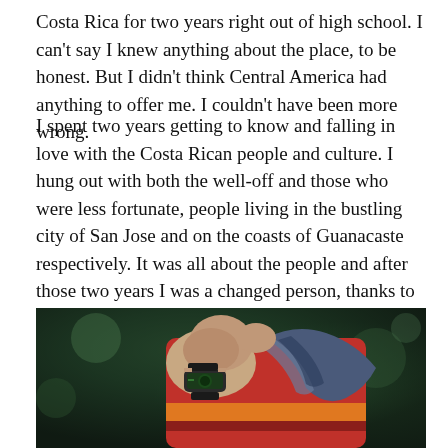Costa Rica for two years right out of high school. I can't say I knew anything about the place, to be honest. But I didn't think Central America had anything to offer me. I couldn't have been more wrong.
I spent two years getting to know and falling in love with the Costa Rican people and culture. I hung out with both the well-off and those who were less fortunate, people living in the bustling city of San Jose and on the coasts of Guanacaste respectively. It was all about the people and after those two years I was a changed person, thanks to the Pura Vida lifestyle and all the Ticos that will never leave my heart.
[Figure (photo): Close-up photo of a person wearing a red and orange striped shirt and a striped scarf, with a watch on their raised wrist, against a dark green blurred background.]